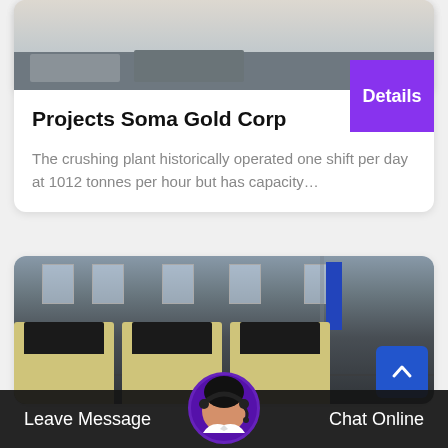[Figure (photo): Top portion of industrial crushing plant machinery, grey metal equipment visible against light background]
Projects Soma Gold Corp
The crushing plant historically operated one shift per day at 1012 tonnes per hour but has capacity…
[Figure (photo): Industrial factory interior showing multiple yellow/beige impact crusher machines arranged in a row inside a large warehouse with skylights]
Leave Message
Chat Online